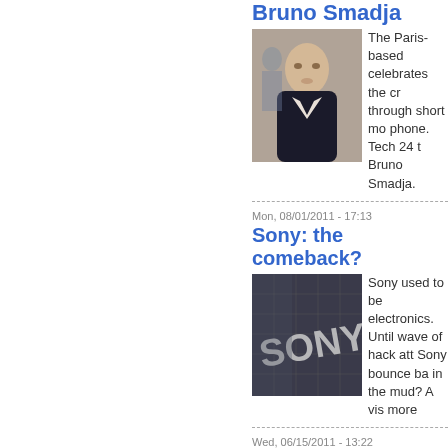Bruno Smadja
[Figure (photo): Photo of Bruno Smadja, a man in a dark jacket]
The Paris-based celebrates the cr through short mo phone. Tech 24 t Bruno Smadja.
Mon, 08/01/2011 - 17:13
Sony: the comeback?
[Figure (photo): Sony building with logo]
Sony used to be electronics. Until wave of hack att Sony bounce ba in the mud? A vis more
Wed, 06/15/2011 - 13:22
Record Labels v. Web Pira music producer about a v
[Figure (photo): Napster logo illustration with orange circles]
Beyoncé's new a weeks before its scourge of the re But the not has